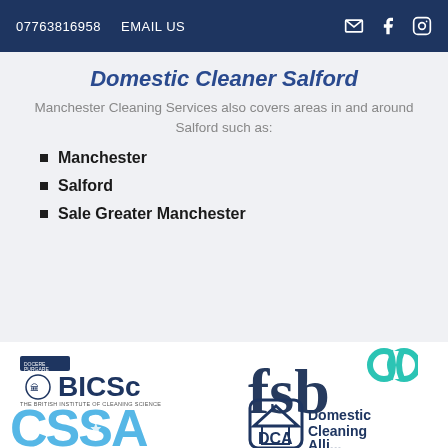07763816958  EMAIL US
Domestic Cleaner Salford
Manchester Cleaning Services also covers areas in and around Salford such as:
Manchester
Salford
Sale Greater Manchester
[Figure (logo): BICSc – The British Institute of Cleaning Science logo]
[Figure (logo): FSB (Federation of Small Businesses) logo]
[Figure (logo): CSSA logo]
[Figure (logo): Domestic Cleaning Alliance (DCA) logo]